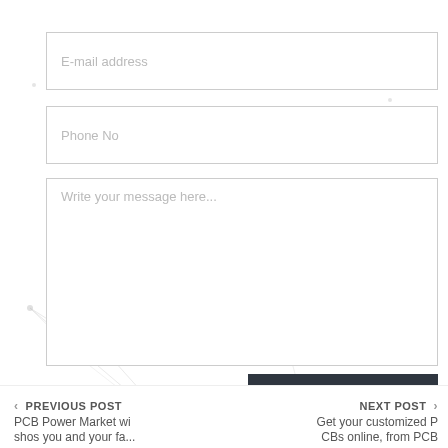E-mail address
Phone No
Write your message here...
SUBMIT
< PREVIOUS POST  PCB Power Market wi  shos you and your fa...  |  NEXT POST >  Get your customized P  CBs online, from PCB